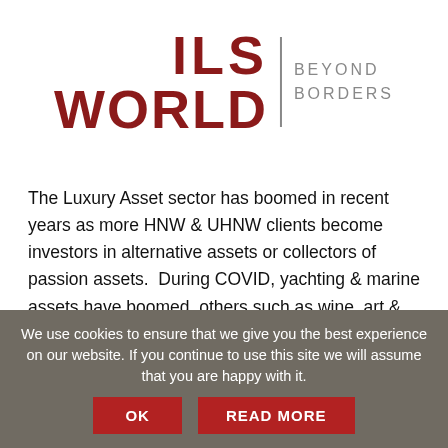[Figure (logo): ILS WORLD BEYOND BORDERS logo with dark red bold text and grey separator and grey subtitle text]
The Luxury Asset sector has boomed in recent years as more HNW & UHNW clients become investors in alternative assets or collectors of passion assets.  During COVID, yachting & marine assets have boomed, others such as wine, art & jewellery have been collected by wealthy families for generations.  Some families with newly created wealth are discovering their taste for collecting for the first time.
We use cookies to ensure that we give you the best experience on our website. If you continue to use this site we will assume that you are happy with it.
OK
READ MORE